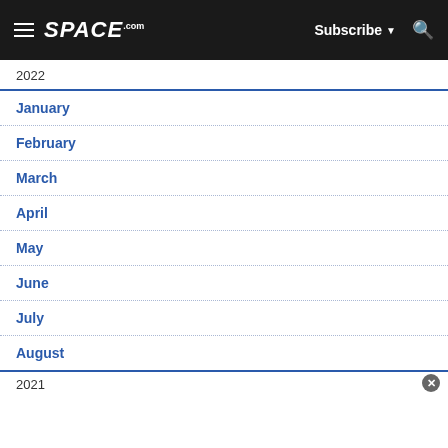SPACE.com — Subscribe — Search
2022
January
February
March
April
May
June
July
August
2021 (partial, cut off)